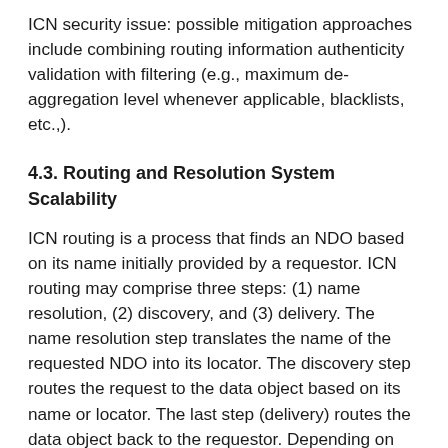ICN security issue: possible mitigation approaches include combining routing information authenticity validation with filtering (e.g., maximum de-aggregation level whenever applicable, blacklists, etc.,).
4.3. Routing and Resolution System Scalability
ICN routing is a process that finds an NDO based on its name initially provided by a requestor. ICN routing may comprise three steps: (1) name resolution, (2) discovery, and (3) delivery. The name resolution step translates the name of the requested NDO into its locator. The discovery step routes the request to the data object based on its name or locator. The last step (delivery) routes the data object back to the requestor. Depending on how these steps are combined, ICN routing schemes can be categorized as Route-By-Name Routing (RBNR), Lookup-By-Name Routing (LBNR), and Hybrid Routing (HR) as discussed in the following subsections.